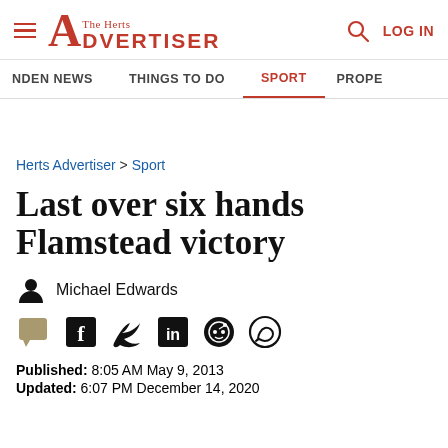The Herts Advertiser — LOG IN
NDEN NEWS  THINGS TO DO  SPORT  PROPE
Herts Advertiser > Sport
Last over six hands Flamstead victory
Michael Edwards
Published: 8:05 AM May 9, 2013
Updated: 6:07 PM December 14, 2020